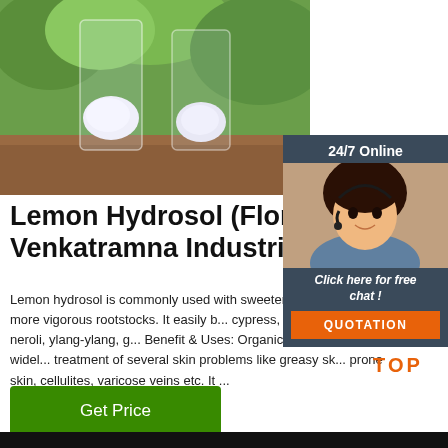[Figure (photo): Photo of white salt or hydrosol crystals in glass jars on a wooden surface with green background]
[Figure (infographic): 24/7 Online chat widget with customer service agent photo, 'Click here for free chat!' text, and QUOTATION button]
Lemon Hydrosol (Floral wat... Venkatramna Industries
Lemon hydrosol is commonly used with sweeten... grafted with more vigorous rootstocks. It easily b... cypress, jasmine, lavender, neroli, ylang-ylang, g... Benefit & Uses: Organic lemon hydrosol is widel... treatment of several skin problems like greasy sk... prone skin, cellulites, varicose veins etc. It ...
[Figure (illustration): TOP button with orange dots arranged in triangle above text TOP]
Get Price